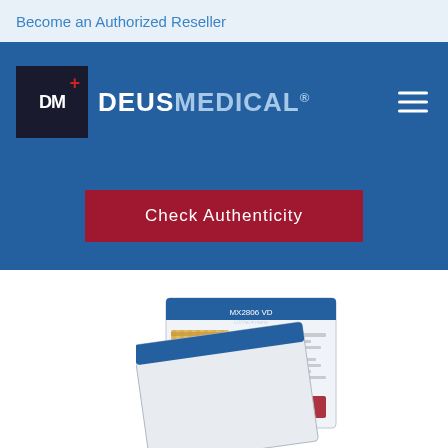Become an Authorized Reseller
[Figure (logo): Deus Medical logo with DM icon and text DEUSMEDICAL®]
Check Authenticity
[Figure (photo): Product authenticity card with QR code and holographic sticker, partially visible at bottom of page]